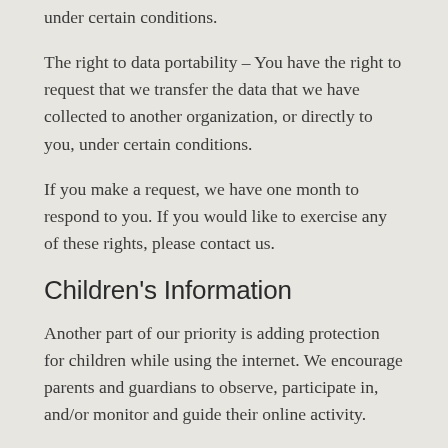under certain conditions.
The right to data portability – You have the right to request that we transfer the data that we have collected to another organization, or directly to you, under certain conditions.
If you make a request, we have one month to respond to you. If you would like to exercise any of these rights, please contact us.
Children's Information
Another part of our priority is adding protection for children while using the internet. We encourage parents and guardians to observe, participate in, and/or monitor and guide their online activity.
Equator Academy does not knowingly collect any